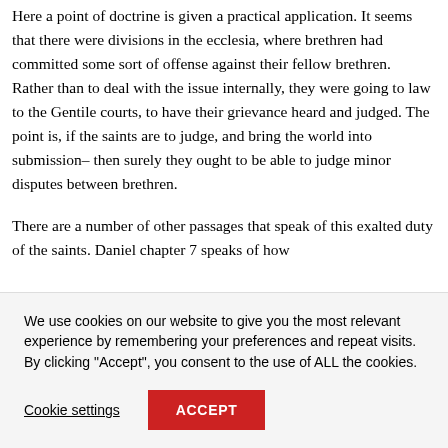Here a point of doctrine is given a practical application. It seems that there were divisions in the ecclesia, where brethren had committed some sort of offense against their fellow brethren. Rather than to deal with the issue internally, they were going to law to the Gentile courts, to have their grievance heard and judged. The point is, if the saints are to judge, and bring the world into submission– then surely they ought to be able to judge minor disputes between brethren.
There are a number of other passages that speak of this exalted duty of the saints. Daniel chapter 7 speaks of how
We use cookies on our website to give you the most relevant experience by remembering your preferences and repeat visits. By clicking "Accept", you consent to the use of ALL the cookies.
Cookie settings
ACCEPT